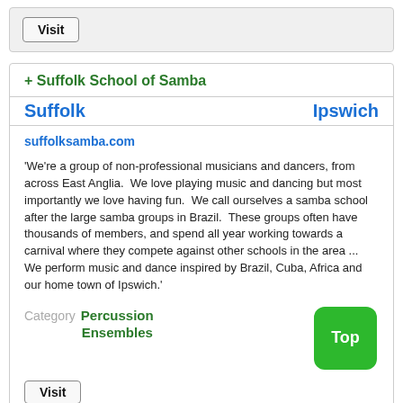Visit
+ Suffolk School of Samba
Suffolk    Ipswich
suffolksamba.com
'We're a group of non-professional musicians and dancers, from across East Anglia.  We love playing music and dancing but most importantly we love having fun.  We call ourselves a samba school after the large samba groups in Brazil.  These groups often have thousands of members, and spend all year working towards a carnival where they compete against other schools in the area ... We perform music and dance inspired by Brazil, Cuba, Africa and our home town of Ipswich.'
Category  Percussion Ensembles
Top
Visit